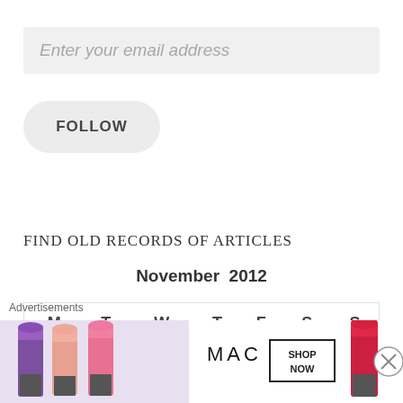Enter your email address
FOLLOW
FIND OLD RECORDS OF ARTICLES
November 2012
| M | T | W | T | F | S | S |
| --- | --- | --- | --- | --- | --- | --- |
Advertisements
[Figure (illustration): MAC cosmetics advertisement banner showing colorful lipsticks and MAC logo with SHOP NOW button]